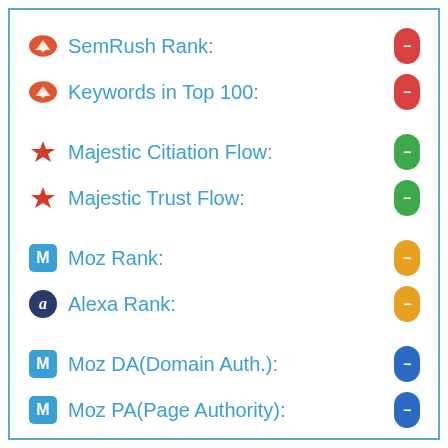SemRush Rank: -
Keywords in Top 100: -
Majestic Citiation Flow: -
Majestic Trust Flow: -
Moz Rank: -
Alexa Rank: -
Moz DA(Domain Auth.): -
Moz PA(Page Authority): -